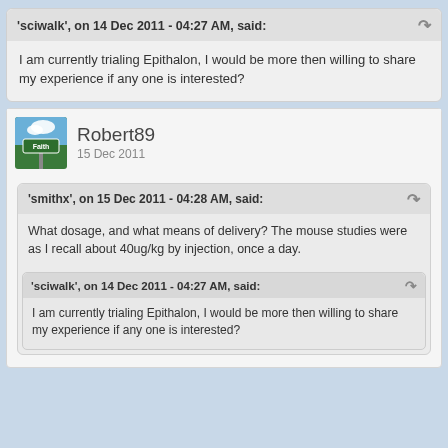'sciwalk', on 14 Dec 2011 - 04:27 AM, said:
I am currently trialing Epithalon, I would be more then willing to share my experience if any one is interested?
Robert89
15 Dec 2011
'smithx', on 15 Dec 2011 - 04:28 AM, said:
What dosage, and what means of delivery? The mouse studies were as I recall about 40ug/kg by injection, once a day.
'sciwalk', on 14 Dec 2011 - 04:27 AM, said:
I am currently trialing Epithalon, I would be more then willing to share my experience if any one is interested?